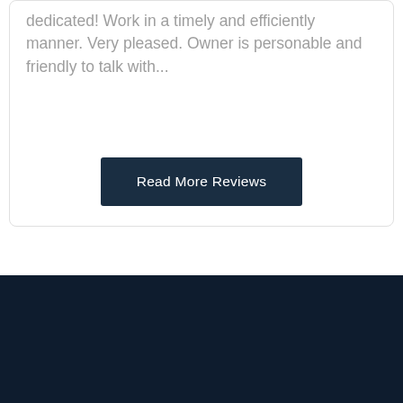dedicated! Work in a timely and efficiently manner. Very pleased. Owner is personable and friendly to talk with...
Read More Reviews
[Figure (logo): All That Roofing logo: white roofline/house icon above italic cursive text 'All That Roofing' on dark navy background]
486 S 11th St Noblesville, IN 46060 (317) -